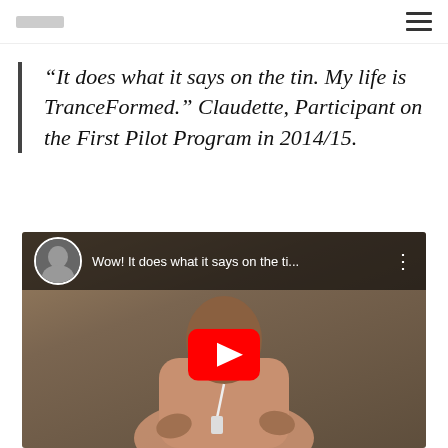“It does what it says on the tin. My life is TranceFormed.” Claudette, Participant on the First Pilot Program in 2014/15.
[Figure (screenshot): YouTube video thumbnail showing a person speaking, with video title 'Wow! It does what it says on the ti...' and a YouTube play button overlay.]